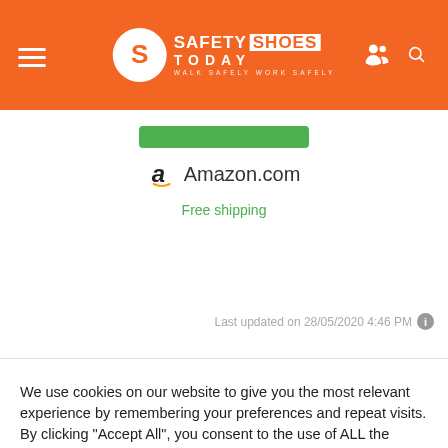Safety Shoes Today — WALK SAFELY WORK SAFELY
[Figure (screenshot): Green button placeholder and Amazon.com seller info with free shipping text]
Amazon.com
Free shipping
Last updated on 28/05/2020 4:46 PM
We use cookies on our website to give you the most relevant experience by remembering your preferences and repeat visits. By clicking "Accept All", you consent to the use of ALL the cookies. However, you may visit "Cookie Settings" to provide a controlled consent.
Cookie Settings
Accept All